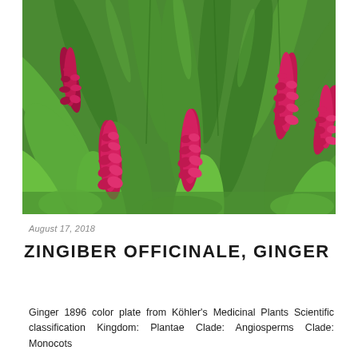[Figure (photo): Photograph of Zingiber officinale (ginger) plant showing bright green tropical leaves with multiple red/crimson cone-shaped flower spikes (red ginger flowers) in the foreground and background.]
August 17, 2018
ZINGIBER OFFICINALE, GINGER
Ginger 1896 color plate from Köhler's Medicinal Plants Scientific classification Kingdom: Plantae Clade: Angiosperms Clade: Monocots